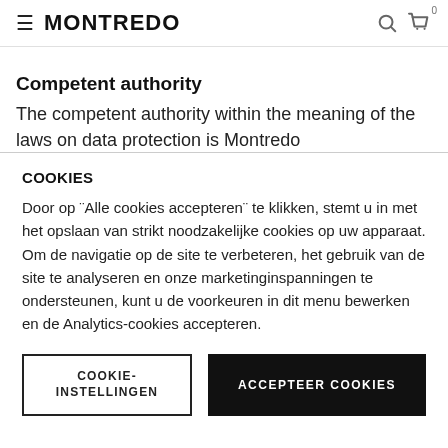≡ MONTREDO
Competent authority
The competent authority within the meaning of the laws on data protection is Montredo
COOKIES
Door op ¨Alle cookies accepteren¨ te klikken, stemt u in met het opslaan van strikt noodzakelijke cookies op uw apparaat. Om de navigatie op de site te verbeteren, het gebruik van de site te analyseren en onze marketinginspanningen te ondersteunen, kunt u de voorkeuren in dit menu bewerken en de Analytics-cookies accepteren.
COOKIE-INSTELLINGEN
ACCEPTEER COOKIES